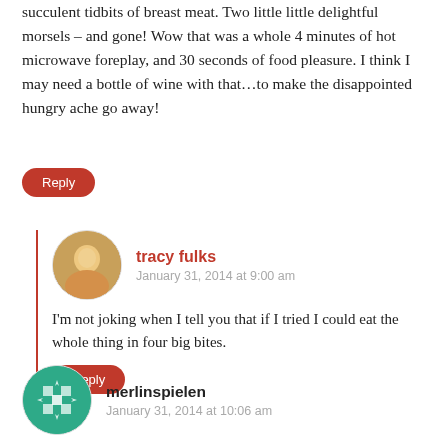succulent tidbits of breast meat. Two little little delightful morsels – and gone! Wow that was a whole 4 minutes of hot microwave foreplay, and 30 seconds of food pleasure. I think I may need a bottle of wine with that…to make the disappointed hungry ache go away!
Reply
tracy fulks
January 31, 2014 at 9:00 am
I'm not joking when I tell you that if I tried I could eat the whole thing in four big bites.
Reply
merlinspielen
January 31, 2014 at 10:06 am
Oh I know first hand you speak the truth. I was also seduced by that lovely packaging. But when it came to entree time it just didn't last long enough to be satisfying.
Back to home cooking for me….